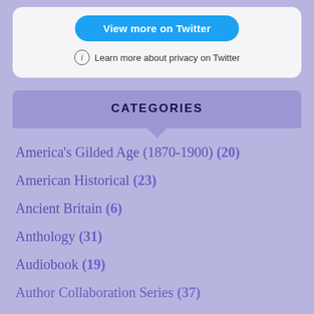[Figure (screenshot): Twitter widget card with blue 'View more on Twitter' button and privacy info link]
CATEGORIES
America's Gilded Age (1870-1900) (20)
American Historical (23)
Ancient Britain (6)
Anthology (31)
Audiobook (19)
Author Collaboration Series (37)